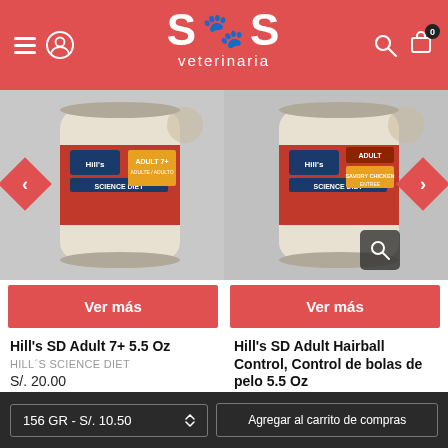SOS veterinaria
[Figure (photo): Hill's Science Diet Adult 7+ canned cat food product image]
[Figure (photo): Hill's Science Diet Adult Savory Chicken Entree canned cat food product image]
Ver más
Ver más
Hill's SD Adult 7+ 5.5 Oz
HILL´S SCIENCE DIET
S/. 20.00
Hill's SD Adult Hairball Control, Control de bolas de pelo 5.5 Oz
HILL´S SCIENCE DIET
S/. 18.00
156 GR - S/. 10.50  Agregar al carrito de compras